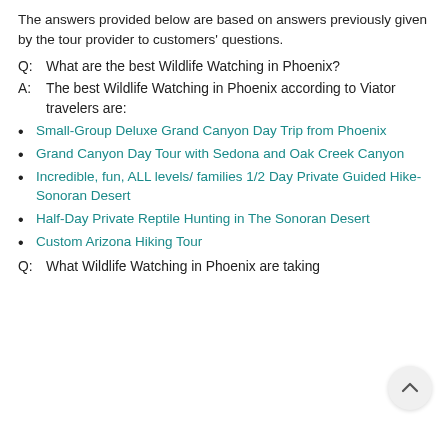The answers provided below are based on answers previously given by the tour provider to customers' questions.
Q:  What are the best Wildlife Watching in Phoenix?
A:  The best Wildlife Watching in Phoenix according to Viator travelers are:
Small-Group Deluxe Grand Canyon Day Trip from Phoenix
Grand Canyon Day Tour with Sedona and Oak Creek Canyon
Incredible, fun, ALL levels/ families 1/2 Day Private Guided Hike-Sonoran Desert
Half-Day Private Reptile Hunting in The Sonoran Desert
Custom Arizona Hiking Tour
Q:  What Wildlife Watching in Phoenix are taking